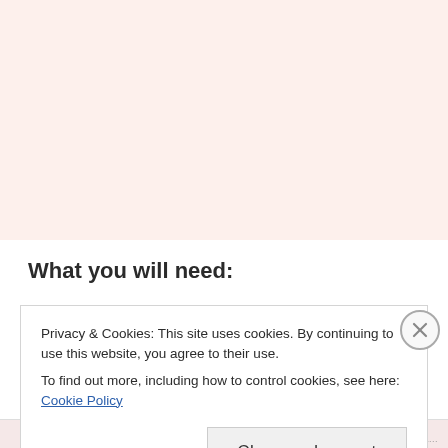[Figure (photo): Top area with pinkish/salmon background, appears to be a food or recipe website screenshot]
What you will need:
Privacy & Cookies: This site uses cookies. By continuing to use this website, you agree to their use.
To find out more, including how to control cookies, see here: Cookie Policy
Close and accept